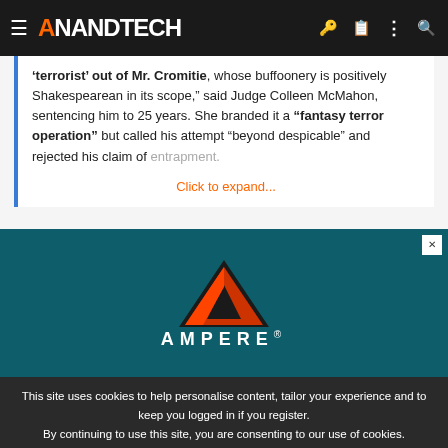AnandTech
&#8216;terrorist&#8217; out of Mr. Cromitie, whose buffoonery is positively Shakespearean in its scope,&#8221; said Judge Colleen McMahon, sentencing him to 25 years. She branded it a &#8220;fantasy terror operation&#8221; but called his attempt &#8220;beyond despicable&#8221; and rejected his claim of entrapment.
Click to expand...
[Figure (logo): Ampere logo advertisement with orange triangle A symbol and white AMPERE text on dark teal background]
This site uses cookies to help personalise content, tailor your experience and to keep you logged in if you register. By continuing to use this site, you are consenting to our use of cookies.